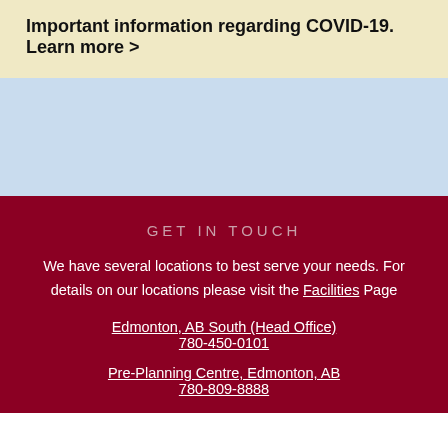Important information regarding COVID-19. Learn more >
GET IN TOUCH
We have several locations to best serve your needs. For details on our locations please visit the Facilities Page
Edmonton, AB South (Head Office)
780-450-0101
Pre-Planning Centre, Edmonton, AB
780-809-8888